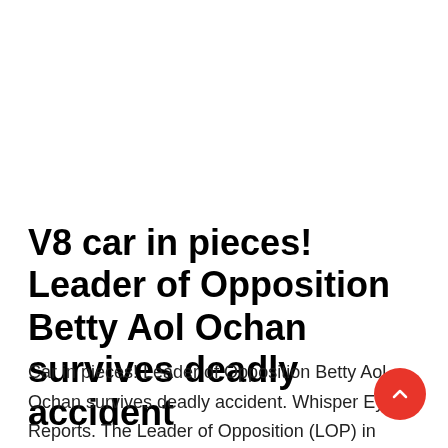V8 car in pieces! Leader of Opposition Betty Aol Ochan survives deadly accident
Car in pieces! Leader of Opposition Betty Aol Ochan survives deadly accident. Whisper Eye Reports. The Leader of Opposition (LOP) in Uganda parliament also Gulu [...]